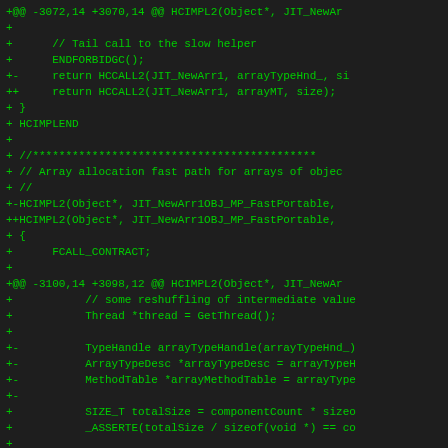[Figure (screenshot): Code diff showing C++ source changes related to array allocation fast path for arrays of objects, including HCIMPL2 function signatures, FCALL_CONTRACT, TypeHandle, ArrayTypeDesc, MethodTable variable declarations, and size calculations. Green text on dark background.]